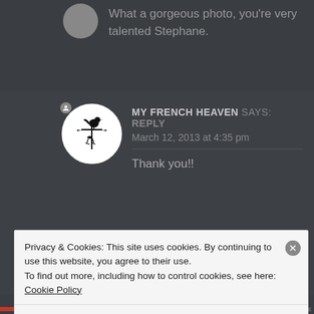What a gorgeous photo, you're very talented Stephane.
MY FRENCH HEAVEN says: Reply
March 12, 2013 at 4:35 pm

Thank you!!
Privacy & Cookies: This site uses cookies. By continuing to use this website, you agree to their use.
To find out more, including how to control cookies, see here: Cookie Policy
Close and accept